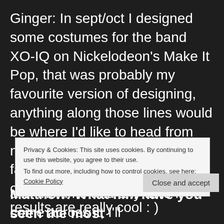Ginger: In sept/oct I designed some costumes for the band XO-IQ on Nickelodeon's Make It Pop, that was probably my favourite version of designing, anything along those lines would be where I'd like to head from now on, lots of color and fun fabrics. They let me be as creative as I wanted and the results are really cool : )
Matthew: What film have you seen the most t...
Privacy & Cookies: This site uses cookies. By continuing to use this website, you agree to their use.
To find out more, including how to control cookies, see here: Cookie Policy
Close and accept
alllll the time and any time I come across it, I'll